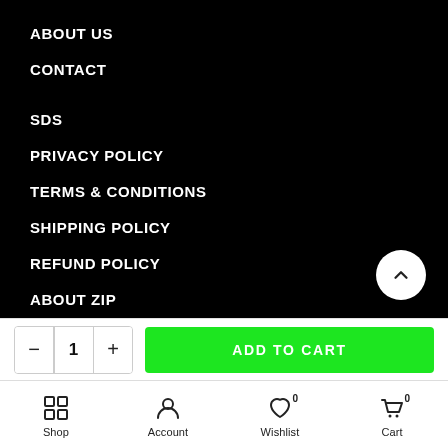ABOUT US
CONTACT
SDS
PRIVACY POLICY
TERMS & CONDITIONS
SHIPPING POLICY
REFUND POLICY
ABOUT ZIP
ADD TO CART
Shop
Account
Wishlist 0
Cart 0